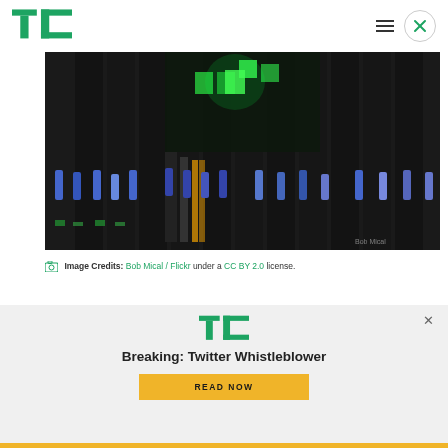TechCrunch (TC logo) — navigation header with hamburger menu and close button
[Figure (photo): Close-up photo of server rack with blue drive handles and green LED lights in a dark data center environment. Watermark: Bob Mical]
Image Credits: Bob Mical / Flickr under a CC BY 2.0 license.
[Figure (infographic): TechCrunch promotional modal overlay with TC logo, headline 'Breaking: Twitter Whistleblower', and a yellow READ NOW button]
Breaking: Twitter Whistleblower
READ NOW